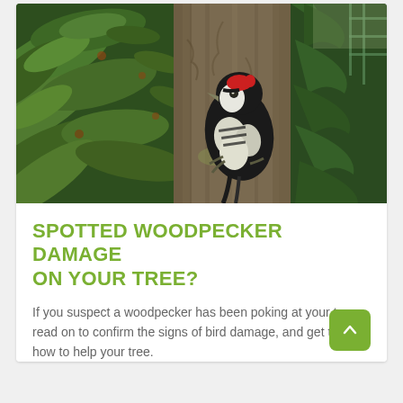[Figure (photo): A great spotted woodpecker clinging to a tree trunk, black and white plumage with red patch, surrounded by green rhododendron leaves on the left and pine branches on the right.]
SPOTTED WOODPECKER DAMAGE ON YOUR TREE?
If you suspect a woodpecker has been poking at your tree, read on to confirm the signs of bird damage, and get tips on how to help your tree.